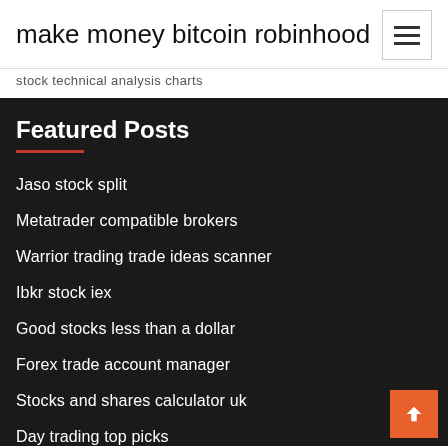make money bitcoin robinhood
stock technical analysis charts
Featured Posts
Jaso stock split
Metatrader compatible brokers
Warrior trading trade ideas scanner
Ibkr stock iex
Good stocks less than a dollar
Forex trade account manager
Stocks and shares calculator uk
Day trading top picks